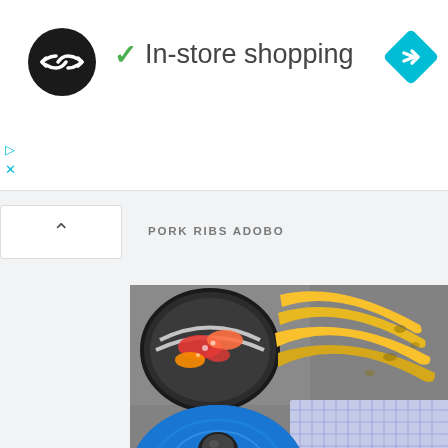[Figure (logo): Black circle logo with double arrow infinity-style icon]
✓ In-store shopping
[Figure (illustration): Cyan/turquoise diamond-shaped navigation icon with right arrow]
▷
X
[Figure (illustration): Collapse/chevron up button]
PORK RIBS ADOBO
[Figure (photo): Food photography showing pork ribs adobo in a blue Dutch oven/casserole dish, with bananas in the background and a small bowl of chopped peppers and vegetables]